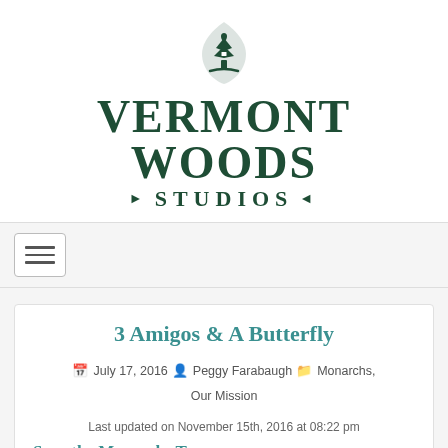[Figure (logo): Vermont Woods Studios logo with tree/house icon and brand name]
[Figure (other): Hamburger menu navigation button]
3 Amigos & A Butterfly
July 17, 2016  Peggy Farabaugh  Monarchs, Our Mission
Last updated on November 15th, 2016 at 08:22 pm
Save the Monarchs Tour